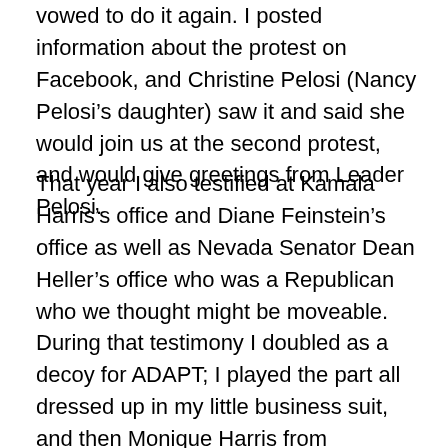vowed to do it again. I posted information about the protest on Facebook, and Christine Pelosi (Nancy Pelosi's daughter) saw it and said she would join us at the second protest, and would give greetings from Leader Pelosi.
That year I also testified at Kamala Harris's office and Diane Feinstein's office as well as Nevada Senator Dean Heller's office who was a Republican who we thought might be moveable. During that testimony I doubled as a decoy for ADAPT; I played the part all dressed up in my little business suit, and then Monique Harris from California Hand in Hand and a few other people came in and occupied his office! I didn't stay because of my health issues, because even though the protestors thought they wouldn't go to jail, they couldn't guarantee it. In 2018 when